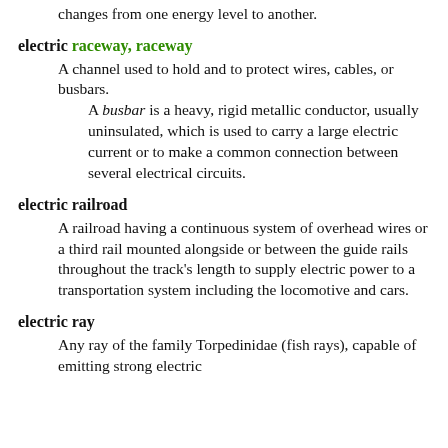changes from one energy level to another.
electric raceway, raceway — A channel used to hold and to protect wires, cables, or busbars. A busbar is a heavy, rigid metallic conductor, usually uninsulated, which is used to carry a large electric current or to make a common connection between several electrical circuits.
electric railroad — A railroad having a continuous system of overhead wires or a third rail mounted alongside or between the guide rails throughout the track's length to supply electric power to a transportation system including the locomotive and cars.
electric ray — Any ray of the family Torpedinidae (fish rays), capable of emitting strong electric